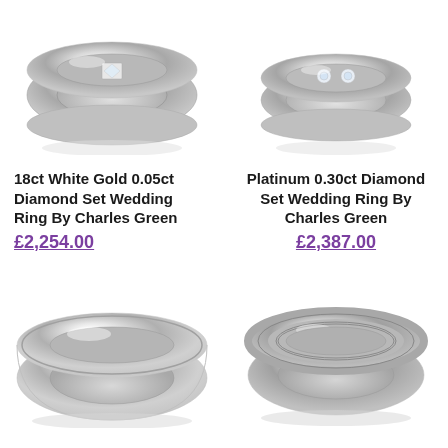[Figure (photo): 18ct White Gold diamond set wedding ring, flat court style with single princess cut diamond, silver/white metal]
[Figure (photo): Platinum 0.30ct diamond set wedding ring with two round brilliant diamonds flush set, slim band in silver/white metal]
18ct White Gold 0.05ct Diamond Set Wedding Ring By Charles Green
£2,254.00
Platinum 0.30ct Diamond Set Wedding Ring By Charles Green
£2,387.00
[Figure (photo): Plain wide court wedding ring in white/platinum metal with smooth polished finish and stepped edge]
[Figure (photo): Platinum wedding ring with matte centre channel and polished edges, wider band with dual groove detailing]